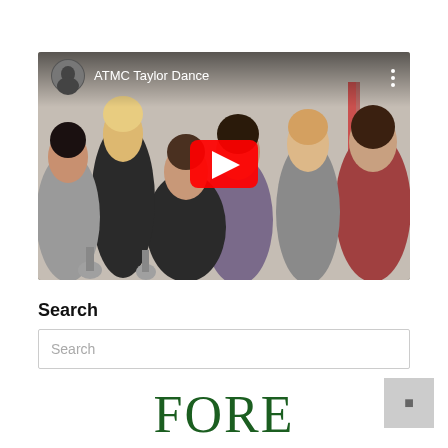[Figure (screenshot): YouTube video thumbnail showing 'ATMC Taylor Dance' with a group of people — five young women and one man — posing together. The YouTube play button overlay is visible in the center. A small avatar and the video title appear in the top left corner with a three-dot menu icon on the top right.]
Search
Search
FORE